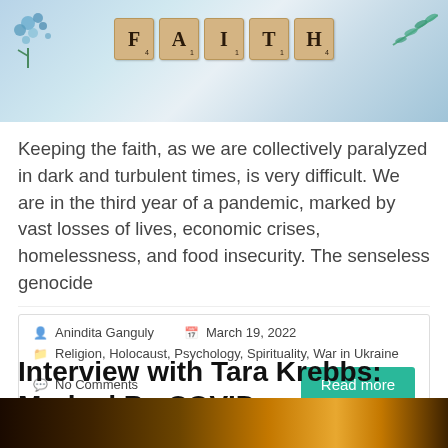[Figure (photo): Photo of scrabble tiles spelling FAITH with blue flowers on the left and teal twigs on the right, on a light background]
Keeping the faith, as we are collectively paralyzed in dark and turbulent times, is very difficult. We are in the third year of a pandemic, marked by vast losses of lives, economic crises, homelessness, and food insecurity. The senseless genocide
Anindita Ganguly   March 19, 2022   Religion, Holocaust, Psychology, Spirituality, War in Ukraine   No Comments
Interview with Tara Krebbs: Marked By COVID
[Figure (photo): Bottom portion of a photo showing bokeh lights in warm golden tones against a dark background]